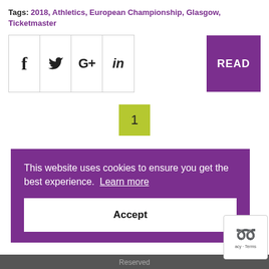Tags: 2018, Athletics, European Championship, Glasgow, Ticketmaster
[Figure (other): Social media share icons (Facebook, Twitter, Google+, LinkedIn) and a purple READ button]
1
This website uses cookies to ensure you get the best experience. Learn more
Accept
Reserved